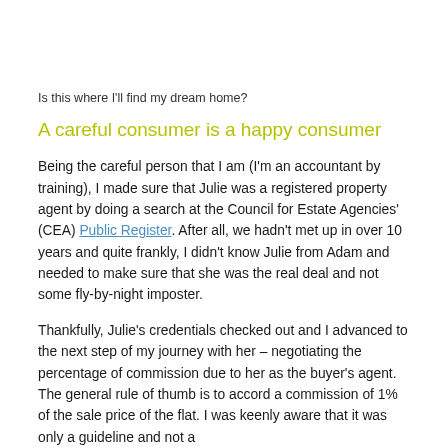Is this where I'll find my dream home?
A careful consumer is a happy consumer
Being the careful person that I am (I'm an accountant by training), I made sure that Julie was a registered property agent by doing a search at the Council for Estate Agencies' (CEA) Public Register. After all, we hadn't met up in over 10 years and quite frankly, I didn't know Julie from Adam and needed to make sure that she was the real deal and not some fly-by-night imposter.
Thankfully, Julie's credentials checked out and I advanced to the next step of my journey with her – negotiating the percentage of commission due to her as the buyer's agent. The general rule of thumb is to accord a commission of 1% of the sale price of the flat. I was keenly aware that it was only a guideline and not a